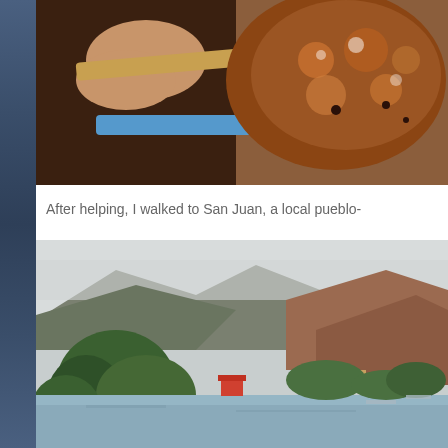[Figure (photo): Close-up photo of hands holding a stick or tool near a bowl of brown liquid or food]
After helping, I walked to San Juan, a local pueblo-
[Figure (photo): Landscape photo of a lake surrounded by mountains and green trees with small buildings along the shore, misty mountains in the background]